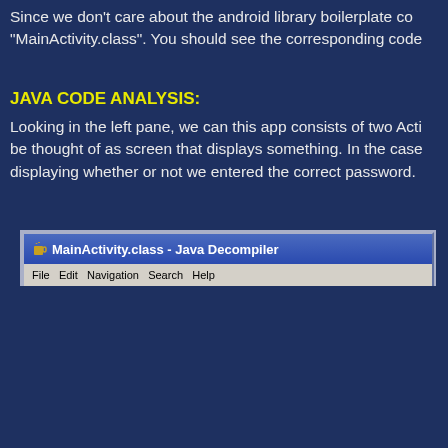Since we don't care about the android library boilerplate code, double-click "MainActivity.class". You should see the corresponding code in the right pane.
JAVA CODE ANALYSIS:
Looking in the left pane, we can this app consists of two Activities. An Activity can be thought of as screen that displays something. In the case of our app, it will be displaying whether or not we entered the correct password.
[Figure (screenshot): Screenshot of Java Decompiler window title bar showing 'MainActivity.class - Java Decompiler' with a coffee cup icon, and the beginning of a menu bar below it.]